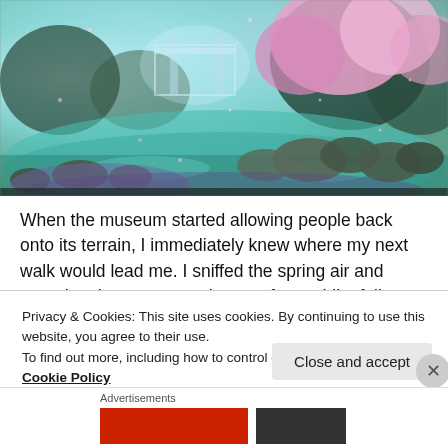[Figure (illustration): Anime-style fantasy scene with cherry blossom trees, glowing teal water/stream, large rocks, and a misty background with a gate or structure. Pink petals falling.]
When the museum started allowing people back onto its terrain, I immediately knew where my next walk would lead me. I sniffed the spring air and stared at the cotton candy trees for a while, fully realizing it would be gone in a few days.
I...
Privacy & Cookies: This site uses cookies. By continuing to use this website, you agree to their use.
To find out more, including how to control cookies, see here:
Cookie Policy
Close and accept
Advertisements